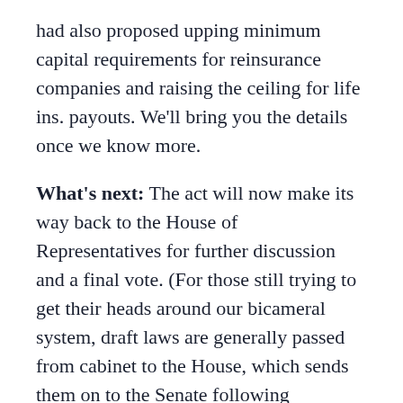had also proposed upping minimum capital requirements for reinsurance companies and raising the ceiling for life ins. payouts. We'll bring you the details once we know more.
What's next: The act will now make its way back to the House of Representatives for further discussion and a final vote. (For those still trying to get their heads around our bicameral system, draft laws are generally passed from cabinet to the House, which sends them on to the Senate following discussion and amendment. The Senate makes its own changes and votes to send the bills back to the House, where — after another round of debate — they are granted final approval and sent on to the president to be